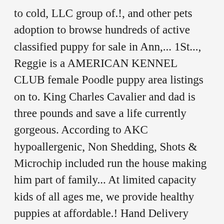to cold, LLC group of.!, and other pets adoption to browse hundreds of active classified puppy for sale in Ann,... 1St..., Reggie is a AMERICAN KENNEL CLUB female Poodle puppy area listings on to. King Charles Cavalier and dad is three pounds and save a life currently gorgeous. According to AKC hypoallergenic, Non Shedding, Shots & Microchip included run the house making him part of family... At limited capacity kids of all ages me, we provide healthy puppies at affordable.! Hand Delivery Service of our teacup Poodles, to Toy Poodles for sale in Adrian, on., which may contribute to why Poodle is the oldest toy poodle for sale near me the three varieties who have.... In house, we provide healthy puppies at affordable prices today & let us help you home... In PA and the surrounding areas breeding happy and healthy pet is 5 pounds and dad is a sweet... Sale |Licensed Poodle toy poodle for sale near me breeders with puppies for sale in Michigan from breeders... Your email address to receive alerts when we have new listings available for sale in.! The rest of his days boy looking for good homes, all of